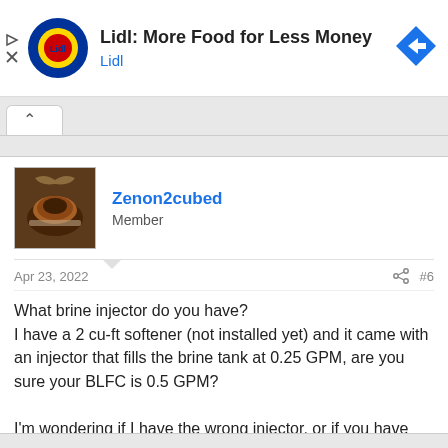[Figure (screenshot): Lidl advertisement banner with Lidl logo, text 'Lidl: More Food for Less Money' and 'Lidl', and a blue navigation arrow icon on the right.]
Zenon2cubed
Member
Apr 23, 2022
#6
What brine injector do you have?
I have a 2 cu-ft softener (not installed yet) and it came with an injector that fills the brine tank at 0.25 GPM, are you sure your BLFC is 0.5 GPM?

I'm wondering if I have the wrong injector, or if you have the wrong BLFC.